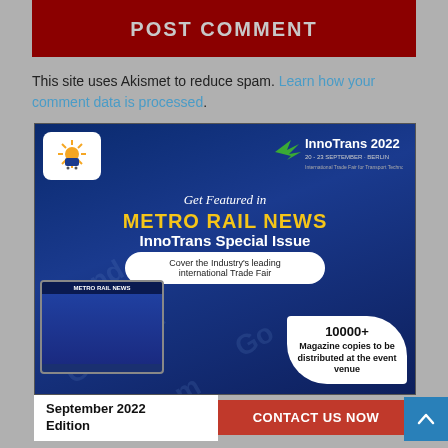POST COMMENT
This site uses Akismet to reduce spam. Learn how your comment data is processed.
[Figure (infographic): Metro Rail News advertisement for InnoTrans 2022 Special Issue. Features Metro Rail News logo, InnoTrans 2022 Berlin logo, text 'Get Featured in METRO RAIL NEWS InnoTrans Special Issue', 'Cover the Industry's leading international Trade Fair', magazine copies image, '10000+ Magazine copies to be distributed at the event venue', 'September 2022 Edition', and 'CONTACT US NOW' call to action.]